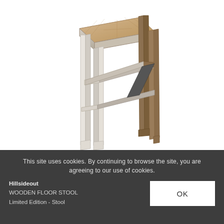[Figure (photo): A tall wooden bar stool with a parquet-patterned seat top, light whitewashed legs and dark wooden cross braces, photographed on a white background. The stool has a square seat with geometric wood inlay pattern and four straight tapered legs with stretcher rails.]
This site uses cookies. By continuing to browse the site, you are agreeing to our use of cookies.
Hillsideout
WOODEN FLOOR STOOL
Limited Edition - Stool
OK